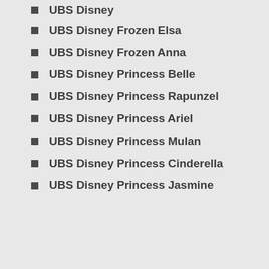UBS Disney
UBS Disney Frozen Elsa
UBS Disney Frozen Anna
UBS Disney Princess Belle
UBS Disney Princess Rapunzel
UBS Disney Princess Ariel
UBS Disney Princess Mulan
UBS Disney Princess Cinderella
UBS Disney Princess Jasmine